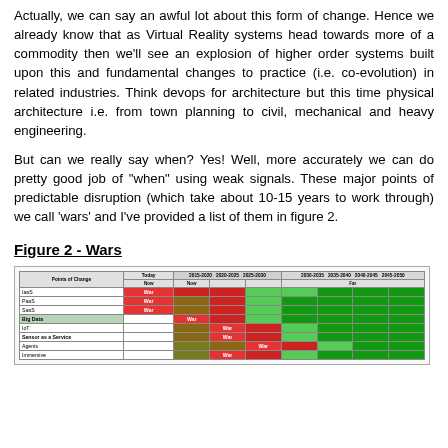Actually, we can say an awful lot about this form of change. Hence we already know that as Virtual Reality systems head towards more of a commodity then we'll see an explosion of higher order systems built upon this and fundamental changes to practice (i.e. co-evolution) in related industries. Think devops for architecture but this time physical architecture i.e. from town planning to civil, mechanical and heavy engineering.

But can we really say when? Yes! Well, more accurately we can do pretty good job of "when" using weak signals. These major points of predictable disruption (which take about 10-15 years to work through) we call 'wars' and I've provided a list of them in figure 2.
Figure 2 - Wars
[Figure (table-as-image): A table titled 'Figure 2 - Wars' showing various technologies (IaaS, PaaS, SaaS, Big Data, IoT, Sensor as a Service, Agents, Immersive) against time periods (Today, near-term, mid-term, far) with colored cells indicating 'War' phases in red/brown/green.]